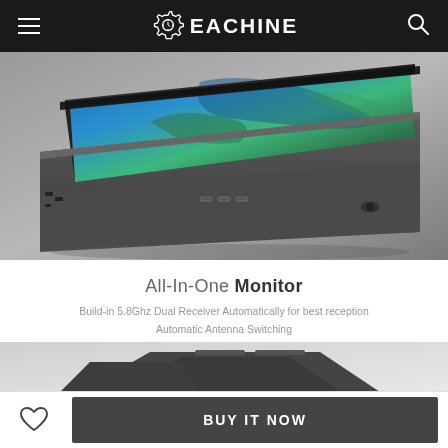EACHINE
[Figure (photo): Eachine FPV monitor with sunshade open, showing screen with earth satellite image, angled top-down view on gray background]
All-In-One Monitor
Build-in 5.8Ghz Dual Receiver Automatically for best reception
Automatic Antenna Switching
[Figure (photo): Eachine FPV monitor folded/closed, dark gray device, bottom portion visible on light gray background]
BUY IT NOW